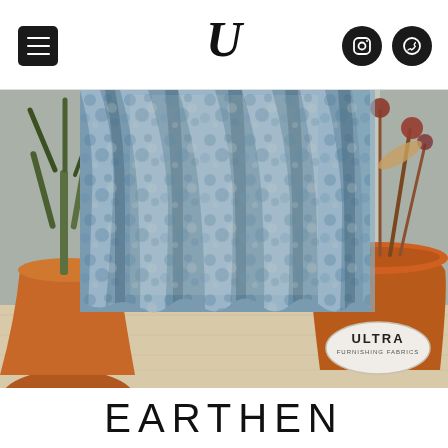U — Ultra Furnishing Fabrics navigation header
[Figure (photo): Decorative curtain fabric with blue and grey mottled pattern hung in folds, flanked by terracotta plant pots with plants. Wooden floor visible at bottom. Ultra Furnishing Fabrics logo watermark in bottom-right corner.]
EARTHEN